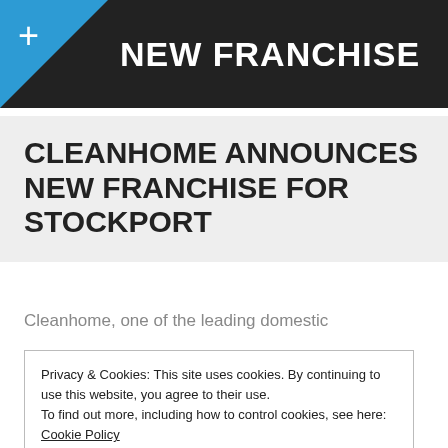NEW FRANCHISE
CLEANHOME ANNOUNCES NEW FRANCHISE FOR STOCKPORT
Cleanhome, one of the leading domestic
from Crewe to Neil Cartwright to join its rapidly expanding franchise network.
Neil, from Cleanhome Stockport, researching a number of franchise
Privacy & Cookies: This site uses cookies. By continuing to use this website, you agree to their use. To find out more, including how to control cookies, see here: Cookie Policy